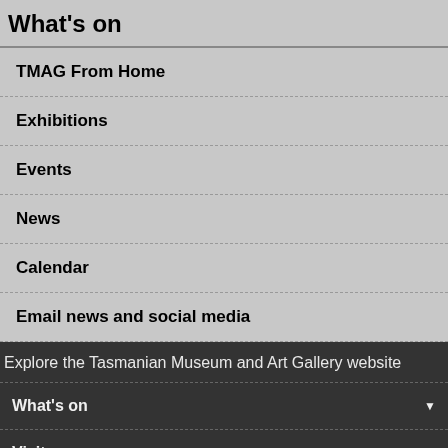What's on
TMAG From Home
Exhibitions
Events
News
Calendar
Email news and social media
Explore the Tasmanian Museum and Art Gallery website
What's on
Visit
Get involved
Learning and discovery
Collections and research